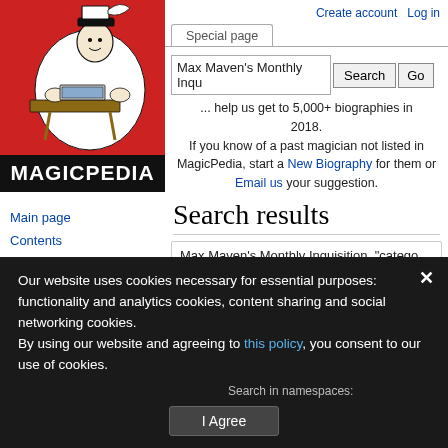[Figure (logo): Magicpedia logo: red background with black-and-white illustration of a magician at a desk, with MAGICPEDIA text below in white on black]
Main page
Contents
New articles
Random page
Recent changes
Biographies (3,673)
Books (1,856)
Periodicals (559)
Create account  Log in
Special page
Max Maven's Monthly Inqu
... help us get to 5,000+ biographies in 2018.
If you know of a past magician not listed in MagicPedia, start a New Biography for them or Email us your suggestion.
Search results
Max Maven's Monthly Inquisition  "catego
Search   Results 1 - 20 of 31
Our website uses cookies necessary for essential purposes: functionality and analytics cookies, content sharing and social networking cookies.
By using our website and agreeing to this policy, you consent to our use of cookies.
Search in namespaces:
I Agree